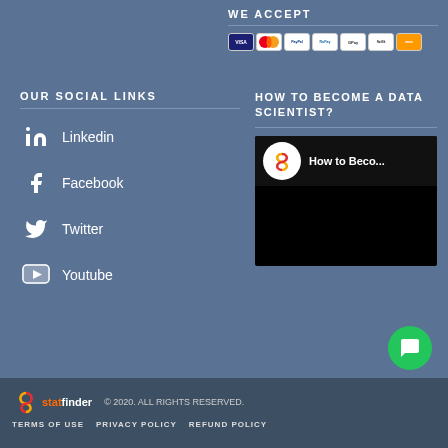WE ACCEPT
[Figure (illustration): Payment method icons: Visa, Mastercard, PayPal, RuPay, GPay, NetBanking, Amazon Pay]
OUR SOCIAL LINKS
Linkedin
Facebook
Twitter
Youtube
HOW TO BECOME A DATA SCIENTIST?
[Figure (screenshot): Video thumbnail showing StatFinder logo and text 'How to Beco...' on black background]
[Figure (logo): StatFinder logo with stylized S bird icon]
© 2020. ALL RIGHTS RESERVED.
TERMS OF USE   PRIVACY POLICY   REFUND POLICY